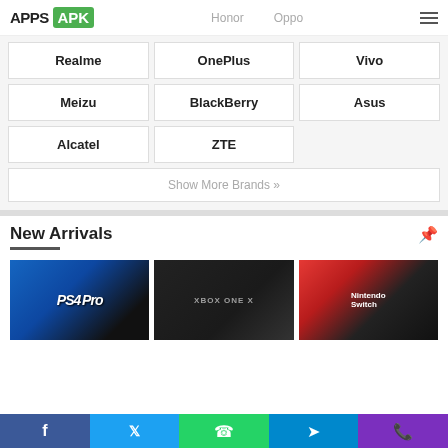APPS APK — Honor — Oppo
Realme
OnePlus
Vivo
Meizu
BlackBerry
Asus
Alcatel
ZTE
Show More Brands »
New Arrivals
[Figure (photo): PS4 Pro gaming console box with blue packaging]
[Figure (photo): Xbox One X gaming console with controller]
[Figure (photo): Nintendo Switch gaming console box with red and blue packaging]
Facebook | Twitter | WhatsApp | Telegram | Viber social share buttons